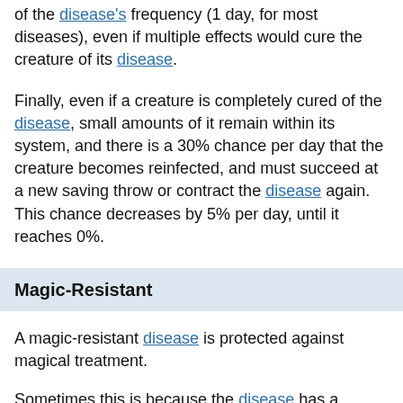of the disease's frequency (1 day, for most diseases), even if multiple effects would cure the creature of its disease.
Finally, even if a creature is completely cured of the disease, small amounts of it remain within its system, and there is a 30% chance per day that the creature becomes reinfected, and must succeed at a new saving throw or contract the disease again. This chance decreases by 5% per day, until it reaches 0%.
Magic-Resistant
A magic-resistant disease is protected against magical treatment.
Sometimes this is because the disease has a magical origin or has been infused with magic, and sometimes it's because the organisms that cause the disease simply react differently to magic than most infectious organisms do. The magic-resistant template can be added to any disease. The disease retains its base